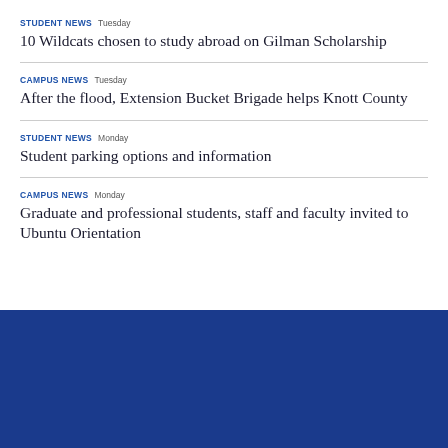STUDENT NEWS Tuesday
10 Wildcats chosen to study abroad on Gilman Scholarship
CAMPUS NEWS Tuesday
After the flood, Extension Bucket Brigade helps Knott County
STUDENT NEWS Monday
Student parking options and information
CAMPUS NEWS Monday
Graduate and professional students, staff and faculty invited to Ubuntu Orientation
[Figure (other): Solid dark blue banner/footer area at the bottom of the page]